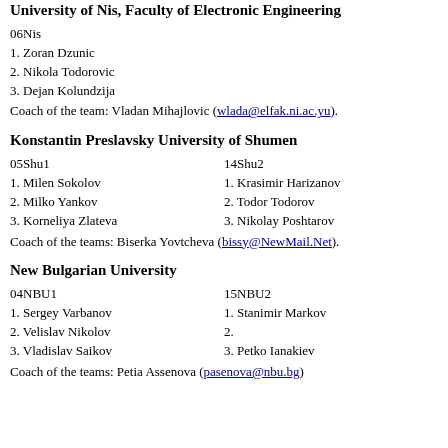University of Nis, Faculty of Electronic Engineering
06Nis
1. Zoran Dzunic
2. Nikola Todorovic
3. Dejan Kolundzija
Coach of the team: Vladan Mihajlovic (wlada@elfak.ni.ac.yu).
Konstantin Preslavsky University of Shumen
05Shu1
1. Milen Sokolov
2. Milko Yankov
3. Korneliya Zlateva

14Shu2
1. Krasimir Harizanov
2. Todor Todorov
3. Nikolay Poshtarov
Coach of the teams: Biserka Yovtcheva (bissy@NewMail.Net).
New Bulgarian University
04NBU1
1. Sergey Varbanov
2. Velislav Nikolov
3. Vladislav Saikov

15NBU2
1. Stanimir Markov
2.
3. Petko Ianakiev
Coach of the teams: Petia Assenova (pasenova@nbu.bg)